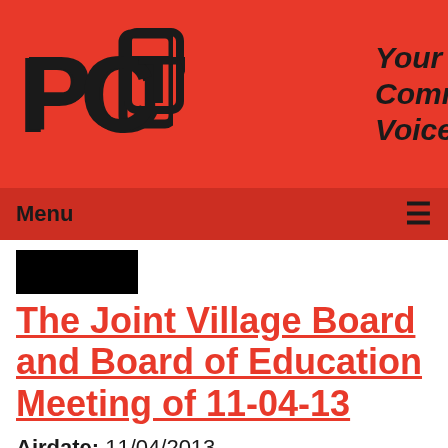PCTV — Your Community Voice
Menu
[Figure (other): Black redacted thumbnail block]
The Joint Village Board and Board of Education Meeting of 11-04-13
Airdate: 11/04/2013
Guests: The Board of